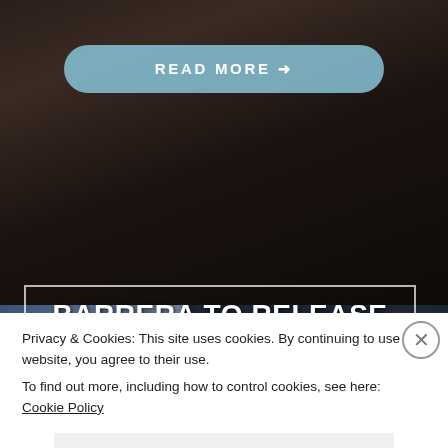[Figure (screenshot): Screenshot of a website showing a dark wooden staircase background image with a light blue 'READ MORE →' button at the top]
READ MORE →
[Figure (screenshot): Album cover or promotional image for BARRERA 'VISIONES NOCTURNAS' album, with blue/grey tones on left and dark background with large white text on right]
BARRERA TO RELEASE «VISIONES NOCTURNAS»
Privacy & Cookies: This site uses cookies. By continuing to use this website, you agree to their use.
To find out more, including how to control cookies, see here: Cookie Policy
Close and accept